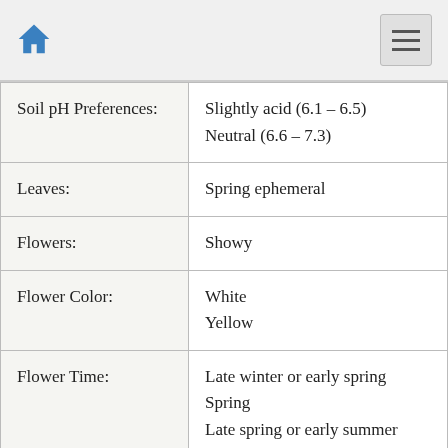Home / Menu
| Property | Value |
| --- | --- |
| Soil pH Preferences: | Slightly acid (6.1 – 6.5)
Neutral (6.6 – 7.3) |
| Leaves: | Spring ephemeral |
| Flowers: | Showy |
| Flower Color: | White
Yellow |
| Flower Time: | Late winter or early spring
Spring
Late spring or early summer |
| Underground structures: | Bulb |